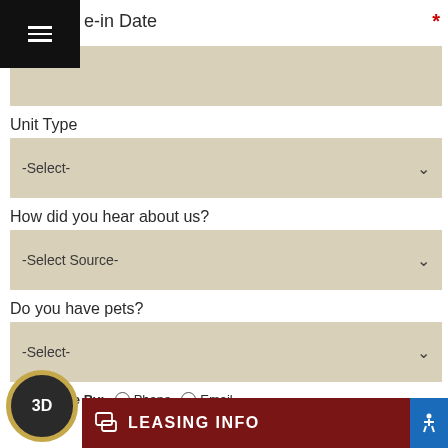e-in Date *
[Figure (other): Tan/beige input field for Move-in Date]
Unit Type
[Figure (other): Dropdown select box showing -Select-]
How did you hear about us?
[Figure (other): Dropdown select box showing -Select Source-]
Do you have pets?
[Figure (other): Dropdown select box showing -Select-]
Contact Me By:  Phone  Email
e-ady to call
[Figure (other): 3D tour badge circular icon]
LEASING INFO